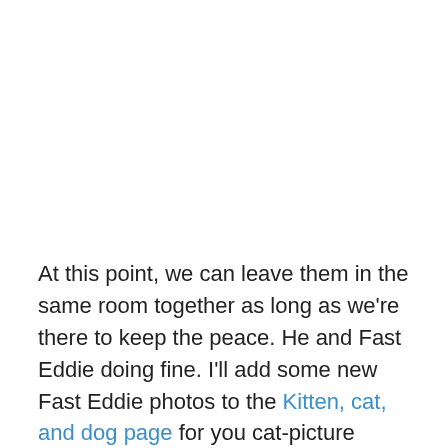At this point, we can leave them in the same room together as long as we're there to keep the peace. He and Fast Eddie doing fine. I'll add some new Fast Eddie photos to the Kitten, cat, and dog page for you cat-picture addicts. So there you have the dog and cat update. It's totally irrelevant to the blog's topic.
Questions: Actually, that's only one question: Do you have a topic you'd like me to address, either about the